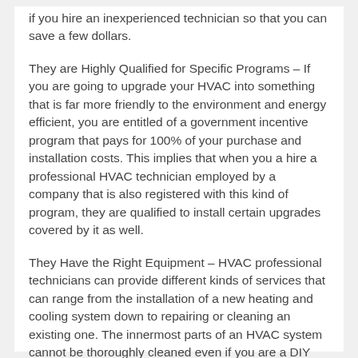if you hire an inexperienced technician so that you can save a few dollars.
They are Highly Qualified for Specific Programs – If you are going to upgrade your HVAC into something that is far more friendly to the environment and energy efficient, you are entitled of a government incentive program that pays for 100% of your purchase and installation costs. This implies that when you a hire a professional HVAC technician employed by a company that is also registered with this kind of program, they are qualified to install certain upgrades covered by it as well.
They Have the Right Equipment – HVAC professional technicians can provide different kinds of services that can range from the installation of a new heating and cooling system down to repairing or cleaning an existing one. The innermost parts of an HVAC system cannot be thoroughly cleaned even if you are a DIY enthusiast that possess a lot of tools and equipments.